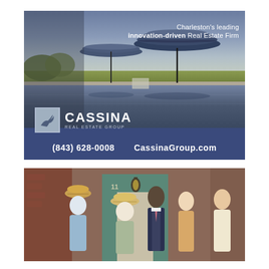[Figure (photo): Advertisement for Cassina Real Estate Group. Top image shows an infinity pool with two large navy patio umbrellas against a marshy landscape under a dramatic sky. Text overlay reads 'Charleston's leading innovation-driven Real Estate Firm'. Cassina Real Estate Group logo shown. Contact bar shows '(843) 628-0008  CassinaGroup.com'.]
[Figure (photo): Group of people standing outside a building entrance with a teal/green door. Several people wearing hats, a person in a navy suit appearing to speak with the group.]